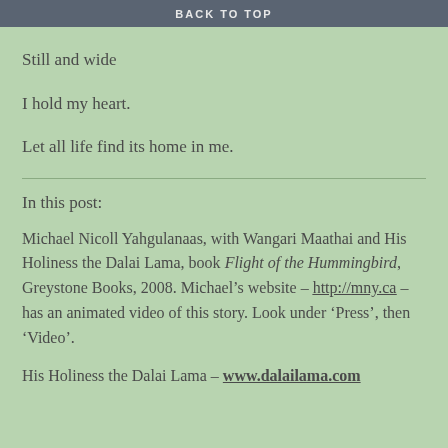BACK TO TOP
Still and wide
I hold my heart.
Let all life find its home in me.
In this post:
Michael Nicoll Yahgulanaas, with Wangari Maathai and His Holiness the Dalai Lama, book Flight of the Hummingbird, Greystone Books, 2008. Michael’s website – http://mny.ca – has an animated video of this story. Look under ‘Press’, then ‘Video’.
His Holiness the Dalai Lama – www.dalailama.com